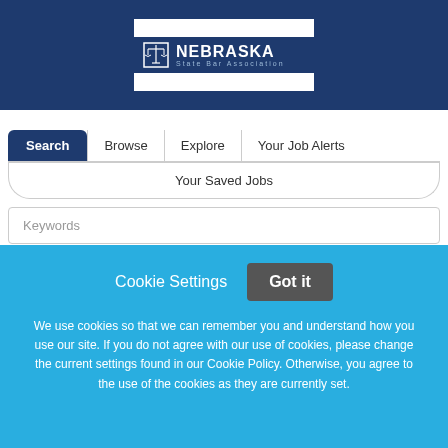[Figure (logo): Nebraska State Bar Association logo with scales of justice icon on dark blue background]
Search | Browse | Explore | Your Job Alerts
Your Saved Jobs
Keywords
Cookie Settings
Got it
We use cookies so that we can remember you and understand how you use our site. If you do not agree with our use of cookies, please change the current settings found in our Cookie Policy. Otherwise, you agree to the use of the cookies as they are currently set.